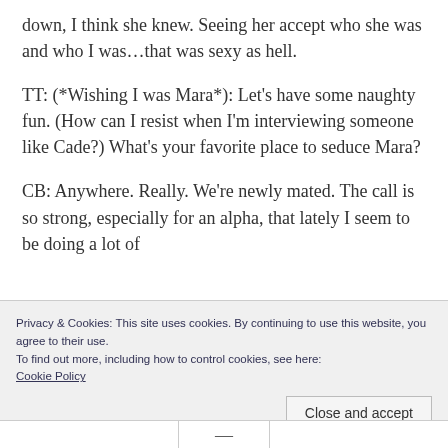down, I think she knew. Seeing her accept who she was and who I was...that was sexy as hell.
TT: (*Wishing I was Mara*): Let's have some naughty fun. (How can I resist when I'm interviewing someone like Cade?) What's your favorite place to seduce Mara?
CB: Anywhere. Really. We're newly mated. The call is so strong, especially for an alpha, that lately I seem to be doing a lot of
Privacy & Cookies: This site uses cookies. By continuing to use this website, you agree to their use.
To find out more, including how to control cookies, see here:
Cookie Policy